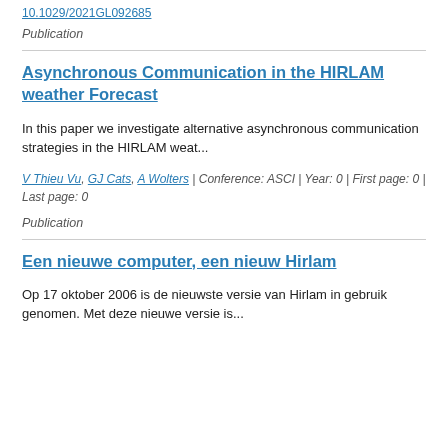10.1029/2021GL092685
Publication
Asynchronous Communication in the HIRLAM weather Forecast
In this paper we investigate alternative asynchronous communication strategies in the HIRLAM weat...
V Thieu Vu, GJ Cats, A Wolters | Conference: ASCI | Year: 0 | First page: 0 | Last page: 0
Publication
Een nieuwe computer, een nieuw Hirlam
Op 17 oktober 2006 is de nieuwste versie van Hirlam in gebruik genomen. Met deze nieuwe versie is...